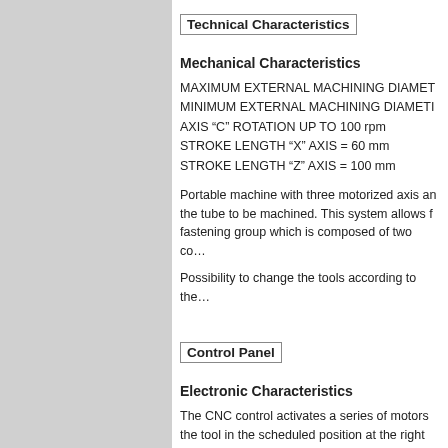Technical Characteristics
Mechanical Characteristics
MAXIMUM EXTERNAL MACHINING DIAMETER
MINIMUM EXTERNAL MACHINING DIAMETER
AXIS “C” ROTATION UP TO 100 rpm
STROKE LENGTH “X” AXIS = 60 mm
STROKE LENGTH “Z” AXIS = 100 mm
Portable machine with three motorized axis and the tube to be machined. This system allows fastening group which is composed of two co...
Possibility to change the tools according to the...
Control Panel
Electronic Characteristics
The CNC control activates a series of motors the tool in the scheduled position at the right...
The numeric control used is extremely simple graphics of the piece can be instantly zoomed...
It has been designed taking into consideration...
Simple and perceptive, with an interactive tou...
It can even be used by personnel with low exp... complicated profiles.
Easy to use. The router of the tools can b...